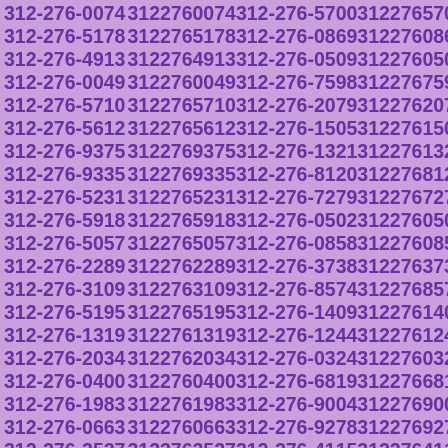312-276-0074 3122760074 312-276-5700 3122765700
312-276-5178 3122765178 312-276-0869 3122760869
312-276-4913 3122764913 312-276-0509 3122760509
312-276-0049 3122760049 312-276-7598 3122767598
312-276-5710 3122765710 312-276-2079 3122762079
312-276-5612 3122765612 312-276-1505 3122761505
312-276-9375 3122769375 312-276-1321 3122761321
312-276-9335 3122769335 312-276-8120 3122768120
312-276-5231 3122765231 312-276-7279 3122767279
312-276-5918 3122765918 312-276-0502 3122760502
312-276-5057 3122765057 312-276-0858 3122760858
312-276-2289 3122762289 312-276-3738 3122763738
312-276-3109 3122763109 312-276-8574 3122768574
312-276-5195 3122765195 312-276-1409 3122761409
312-276-1319 3122761319 312-276-1244 3122761244
312-276-2034 3122762034 312-276-0324 3122760324
312-276-0400 3122760400 312-276-6819 3122766819
312-276-1983 3122761983 312-276-9004 3122769004
312-276-0663 3122760663 312-276-9278 3122769278
312-276-3527 3122763527 312-276-4115 3122764115
312-276-9126 3122769126 312-276-4142 3122764142